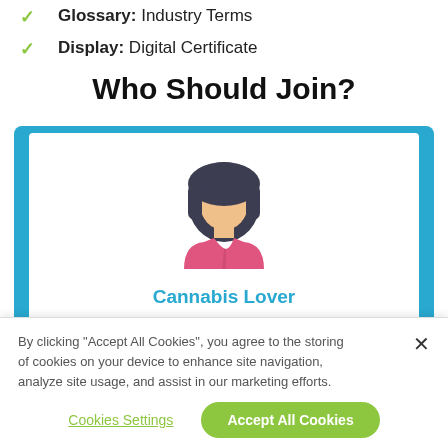Glossary: Industry Terms
Display: Digital Certificate
Who Should Join?
[Figure (illustration): A cartoon female avatar with dark bob hair and pink top, labeled 'Cannabis Lover' in teal text, inside a white card with a teal/blue border frame]
By clicking "Accept All Cookies", you agree to the storing of cookies on your device to enhance site navigation, analyze site usage, and assist in our marketing efforts.
Cookies Settings   Accept All Cookies